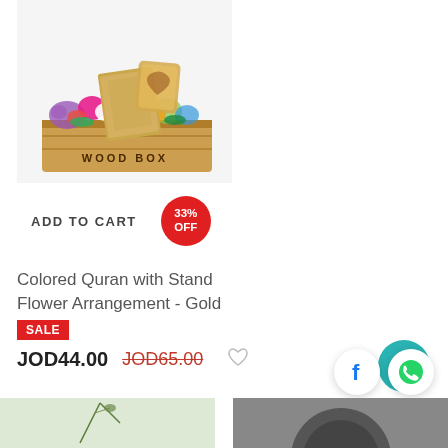[Figure (photo): Wooden box flower arrangement with colored Quran and decorative wooden stand, filled with colorful flowers (purple, pink, yellow, white roses and mixed flowers). Text 'WOOD BOX' on the wooden crate.]
ADD TO CART
33% OFF
Colored Quran with Stand Flower Arrangement - Gold
SALE
JOD44.00 JOD65.00
[Figure (photo): Partial view of a plant/floral product, bottom left corner]
[Figure (photo): Partial view of a dark circular product, bottom right corner]